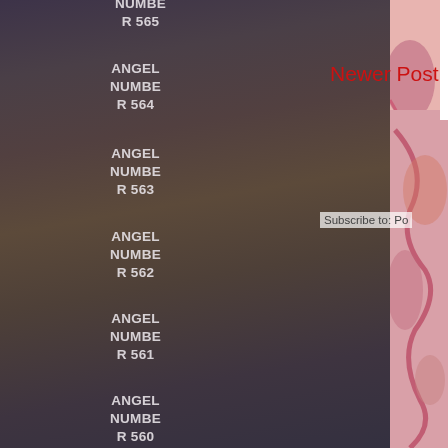ANGEL NUMBER 565
ANGEL NUMBER 564
ANGEL NUMBER 563
ANGEL NUMBER 562
ANGEL NUMBER 561
ANGEL NUMBER 560
ANGEL NUMBER 559
ANGEL NUMBER 558
ANGEL
[Figure (illustration): Watercolor painting with pink, red, maroon and orange fluid abstract shapes on a light background, overlaid on the right side of the page]
Newer Post
Subscribe to: Po